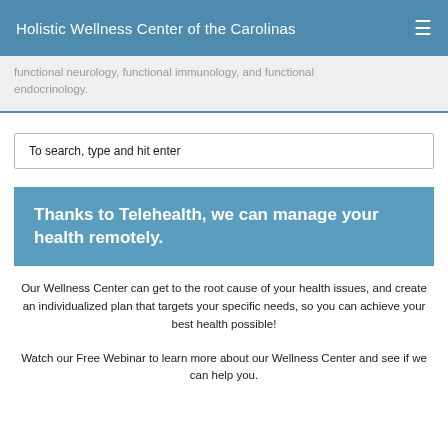Holistic Wellness Center of the Carolinas
functional neurology, functional immunology, and functional endocrinology.
To search, type and hit enter
Thanks to Telehealth, we can manage your health remotely.
Our Wellness Center can get to the root cause of your health issues, and create an individualized plan that targets your specific needs, so you can achieve your best health possible!
Watch our Free Webinar to learn more about our Wellness Center and see if we can help you.